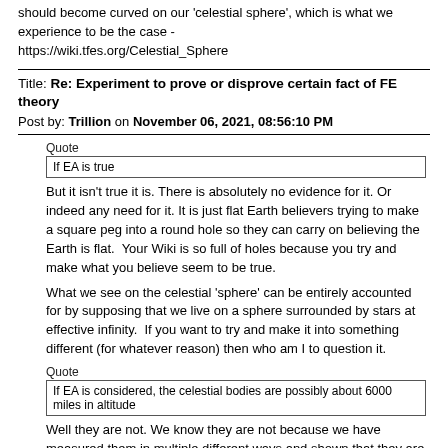should become curved on our 'celestial sphere', which is what we experience to be the case - https://wiki.tfes.org/Celestial_Sphere
Title: Re: Experiment to prove or disprove certain fact of FE theory
Post by: Trillion on November 06, 2021, 08:56:10 PM
Quote
If EA is true
But it isn't true it is. There is absolutely no evidence for it. Or indeed any need for it. It is just flat Earth believers trying to make a square peg into a round hole so they can carry on believing the Earth is flat.  Your Wiki is so full of holes because you try and make what you believe seem to be true.
What we see on the celestial 'sphere' can be entirely accounted for by supposing that we live on a sphere surrounded by stars at effective infinity.  If you want to try and make it into something different (for whatever reason) then who am I to question it.
Quote
If EA is considered, the celestial bodies are possibly about 6000 miles in altitude
Well they are not. We know they are not because we have measured them in multiple different ways and shown that they are not. We've known that since the mid-19th century and GAIA has now providing a mapping of 90% of the stars in the